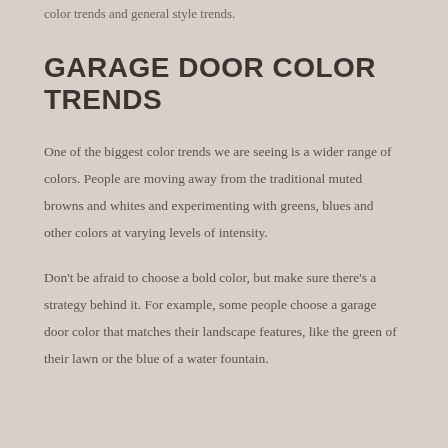color trends and general style trends.
GARAGE DOOR COLOR TRENDS
One of the biggest color trends we are seeing is a wider range of colors. People are moving away from the traditional muted browns and whites and experimenting with greens, blues and other colors at varying levels of intensity.
Don't be afraid to choose a bold color, but make sure there's a strategy behind it. For example, some people choose a garage door color that matches their landscape features, like the green of their lawn or the blue of a water fountain.